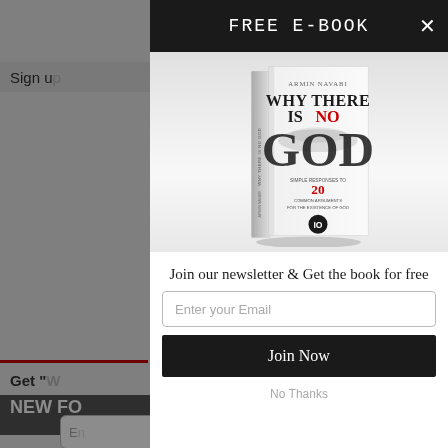FREE E-BOOK
[Figure (illustration): Book cover of 'Why There Is No God' by Armin Navabi. White cover with large bold black text 'WHY THERE IS NO GOD' and red text 'NO'. Subtitle reads 'Simple Responses to 20 Common Arguments for the Existence of God'. Shows front and spine of book in 3D perspective.]
Join our newsletter & Get the book for free
Enter your Email
Join Now
No Thanks